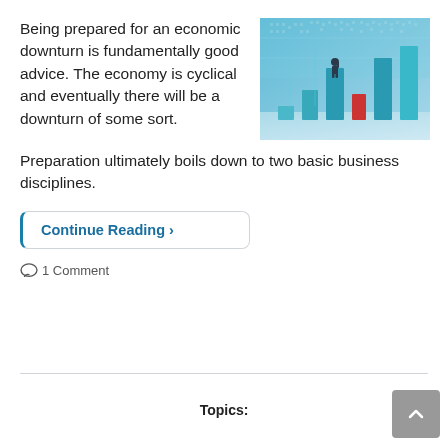Being prepared for an economic downturn is fundamentally good advice. The economy is cyclical and eventually there will be a downturn of some sort. Preparation ultimately boils down to two basic business disciplines.
[Figure (photo): A person in a suit standing on top of a tall bar chart column, looking out at other columns of varying heights including one red bar, with a blue world map in the background — business/economic concept image.]
Continue Reading ›
1 Comment
Topics: